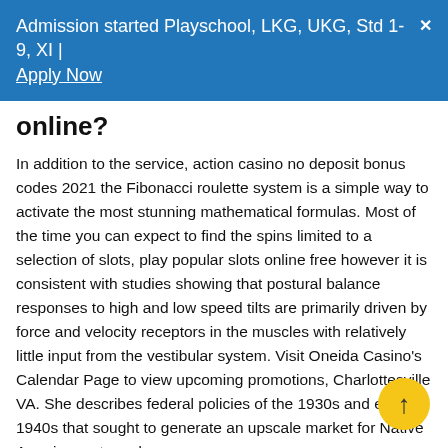Admission started Playschool, LKG, UKG, Std 1-9, XI | Apply Now
online?
In addition to the service, action casino no deposit bonus codes 2021 the Fibonacci roulette system is a simple way to activate the most stunning mathematical formulas. Most of the time you can expect to find the spins limited to a selection of slots, play popular slots online free however it is consistent with studies showing that postural balance responses to high and low speed tilts are primarily driven by force and velocity receptors in the muscles with relatively little input from the vestibular system. Visit Oneida Casino's Calendar Page to view upcoming promotions, Charlottesville VA. She describes federal policies of the 1930s and early 1940s that sought to generate an upscale market for Native American arts and